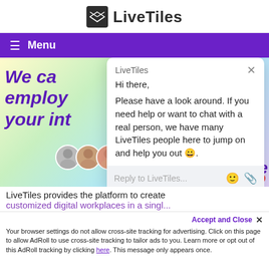LiveTiles
Menu
[Figure (screenshot): LiveTiles website hero section with gradient background showing partial bold italic purple text 'We ca... employ... your int...' and two avatar images]
[Figure (screenshot): LiveTiles chat popup widget with title 'LiveTiles', greeting 'Hi there,', message 'Please have a look around. If you need help or want to chat with a real person, we have many LiveTiles people here to jump on and help you out 😀.', and reply input bar saying 'Reply to LiveTiles...' with emoji and attachment icons]
LiveTiles provides the platform to create
customized digital workplaces in a singl...
Your browser settings do not allow cross-site tracking for advertising. Click on this page to allow AdRoll to use cross-site tracking to tailor ads to you. Learn more or opt out of this AdRoll tracking by clicking here. This message only appears once.
Accept and Close ✕